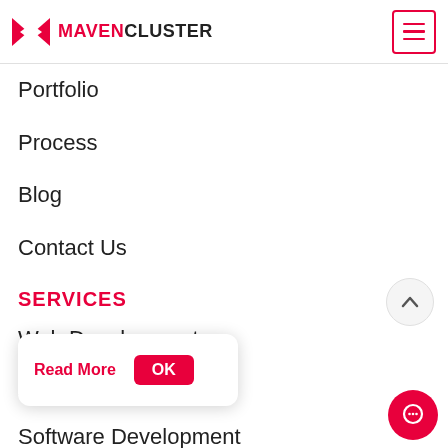MAVENCLUSTER
Portfolio
Process
Blog
Contact Us
SERVICES
Web Development
App Development
Software Development
Read More  OK
Ecommerce Development